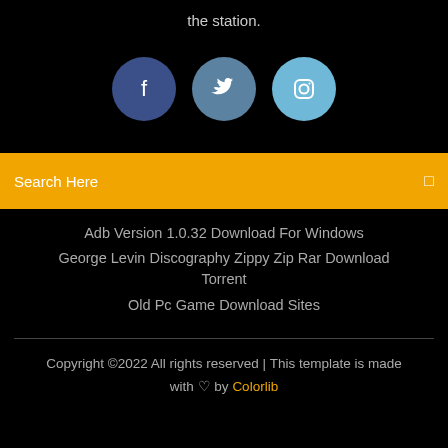the station.
[Figure (illustration): Three social media icon circles: Facebook (dark blue), Twitter (medium blue), Instagram (light blue)]
Search Here
Adb Version 1.0.32 Download For Windows
George Levin Discography Zippy Zip Rar Download Torrent
Old Pc Game Download Sites
Copyright ©2022 All rights reserved | This template is made with ♡ by Colorlib